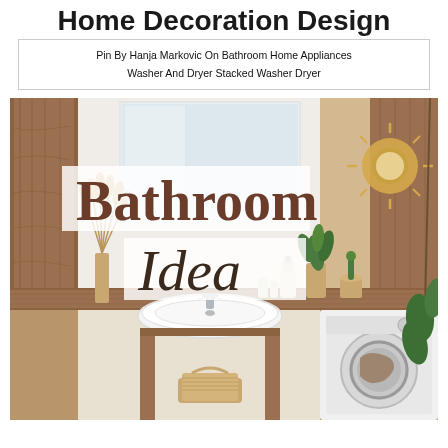Home Decoration Design
Pin By Hanja Markovic On Bathroom Home Appliances Washer And Dryer Stacked Washer Dryer
[Figure (photo): Bathroom interior with wooden vanity countertop, white vessel sink with chrome faucet, wicker/rattan basket underneath, dried pampas grass in a white pot, green plants, a round sunburst mirror, a washing machine, and decorative items, with wood-effect tile walls. Overlaid text reads 'Bathroom Idea' in serif font on white semi-transparent backgrounds.]